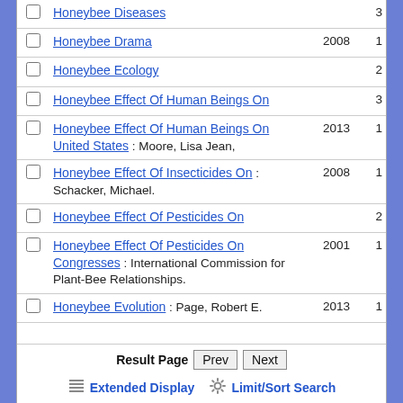|  | Title | Year | Count |
| --- | --- | --- | --- |
| ☐ | Honeybee Diseases |  | 3 |
| ☐ | Honeybee Drama | 2008 | 1 |
| ☐ | Honeybee Ecology |  | 2 |
| ☐ | Honeybee Effect Of Human Beings On |  | 3 |
| ☐ | Honeybee Effect Of Human Beings On United States : Moore, Lisa Jean, | 2013 | 1 |
| ☐ | Honeybee Effect Of Insecticides On : Schacker, Michael. | 2008 | 1 |
| ☐ | Honeybee Effect Of Pesticides On |  | 2 |
| ☐ | Honeybee Effect Of Pesticides On Congresses : International Commission for Plant-Bee Relationships. | 2001 | 1 |
| ☐ | Honeybee Evolution : Page, Robert E. | 2013 | 1 |
Result Page  Prev  Next
Extended Display   Limit/Sort Search